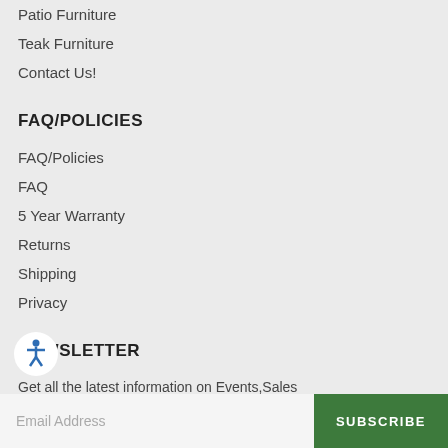Patio Furniture
Teak Furniture
Contact Us!
FAQ/POLICIES
FAQ/Policies
FAQ
5 Year Warranty
Returns
Shipping
Privacy
NEWSLETTER
Get all the latest information on Events,Sales and Offers. Sign up for newsletter today
Email Address
SUBSCRIBE